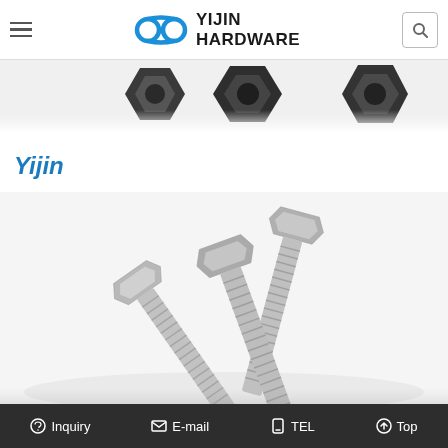Yijin Hardware
[Figure (photo): Dark metal hex nuts visible at top of page, partial view on white background]
Yijin
[Figure (photo): Several stainless steel hex head bolts/screws arranged together on white background showing threaded shafts]
Inquiry   E-mail   TEL   Top